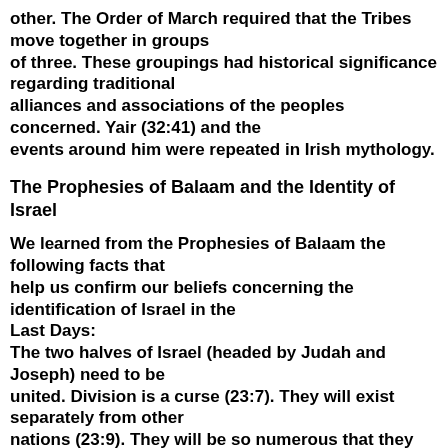other. The Order of March required that the Tribes move together in groups of three. These groupings had historical significance regarding traditional alliances and associations of the peoples concerned. Yair (32:41) and the events around him were repeated in Irish mythology.
The Prophesies of Balaam and the Identity of Israel
We learned from the Prophesies of Balaam the following facts that help us confirm our beliefs concerning the identification of Israel in the Last Days: The two halves of Israel (headed by Judah and Joseph) need to be united. Division is a curse (23:7). They will exist separately from other nations (23:9). They will be so numerous that they cannot be counted (23:10). The blessings to Israel were unconditional (23:19, 23:20). They are likened unto a unicorn (23:22 24:8), and a lion (23:24). They will